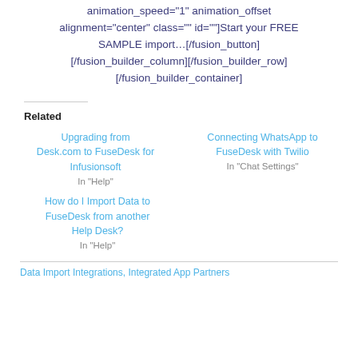animation_speed="1" animation_offset alignment="center" class="" id=""]Start your FREE SAMPLE import…[/fusion_button] [/fusion_builder_column][/fusion_builder_row] [/fusion_builder_container]
Related
Upgrading from Desk.com to FuseDesk for Infusionsoft
In "Help"
Connecting WhatsApp to FuseDesk with Twilio
In "Chat Settings"
How do I Import Data to FuseDesk from another Help Desk?
In "Help"
Data Import Integrations, Integrated App Partners